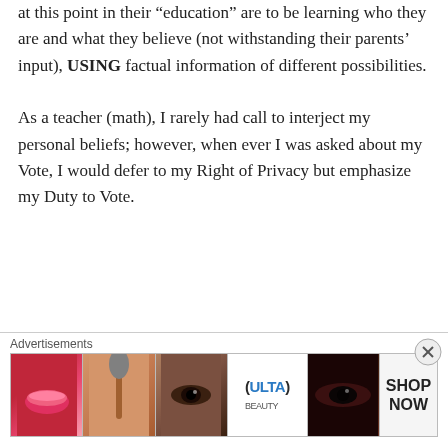at this point in their “education” are to be learning who they are and what they believe (not withstanding their parents’ input), USING factual information of different possibilities.
As a teacher (math), I rarely had call to interject my personal beliefs; however, when ever I was asked about my Vote, I would defer to my Right of Privacy but emphasize my Duty to Vote.
★ Like
Glenn Festog on September 24, 2016 at 4:13 PM
[Figure (illustration): Gray avatar/user profile icon (silhouette)]
[Figure (photo): Advertisement banner for Ulta Beauty showing makeup images (lips, brush, eye, Ulta logo, eye close-up) with SHOP NOW call to action]